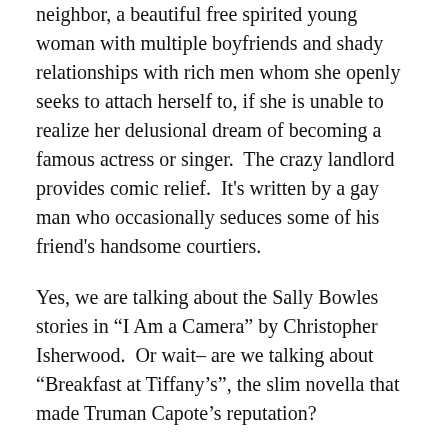neighbor, a beautiful free spirited young woman with multiple boyfriends and shady relationships with rich men whom she openly seeks to attach herself to, if she is unable to realize her delusional dream of becoming a famous actress or singer.  The crazy landlord provides comic relief.  It's written by a gay man who occasionally seduces some of his friend's handsome courtiers.
Yes, we are talking about the Sally Bowles stories in “I Am a Camera” by Christopher Isherwood.  Or wait– are we talking about “Breakfast at Tiffany’s”, the slim novella that made Truman Capote’s reputation?
The difference is this: Christopher Isherwood could not, of course, have had a copy of “Breakfast at Tiffany’s” in his suitcase when he arrived in Berlin; Truman Capote did have a copy of “I am a Camera” in his when he arrived in New York.